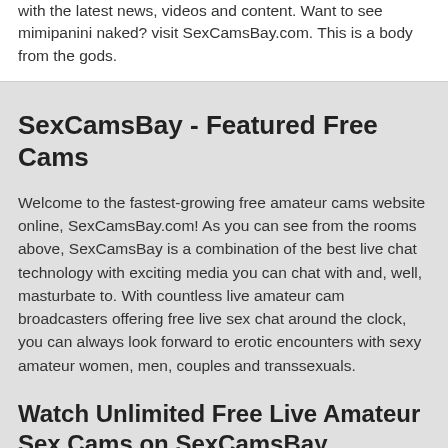with the latest news, videos and content. Want to see mimipanini naked? visit SexCamsBay.com. This is a body from the gods.
SexCamsBay - Featured Free Cams
Welcome to the fastest-growing free amateur cams website online, SexCamsBay.com! As you can see from the rooms above, SexCamsBay is a combination of the best live chat technology with exciting media you can chat with and, well, masturbate to. With countless live amateur cam broadcasters offering free live sex chat around the clock, you can always look forward to erotic encounters with sexy amateur women, men, couples and transsexuals.
Watch Unlimited Free Live Amateur Sex Cams on SexCamsBay